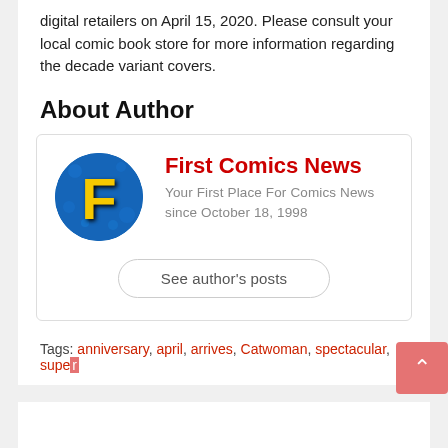digital retailers on April 15, 2020. Please consult your local comic book store for more information regarding the decade variant covers.
About Author
[Figure (logo): First Comics News circular logo with yellow F letter on blue background]
First Comics News
Your First Place For Comics News since October 18, 1998
See author's posts
Tags: anniversary, april, arrives, Catwoman, spectacular, super